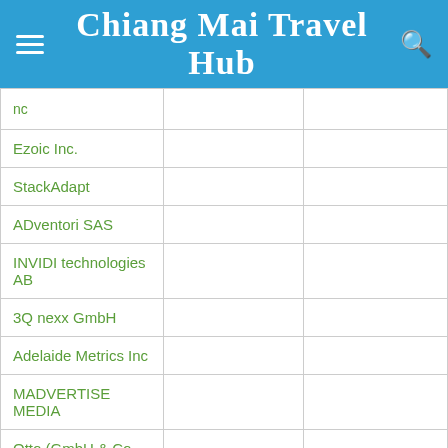Chiang Mai Travel Hub
| nc |  |  |
| Ezoic Inc. |  |  |
| StackAdapt |  |  |
| ADventori SAS |  |  |
| INVIDI technologies AB |  |  |
| 3Q nexx GmbH |  |  |
| Adelaide Metrics Inc |  |  |
| MADVERTISE MEDIA |  |  |
| Otto (GmbH & Co KG) |  |  |